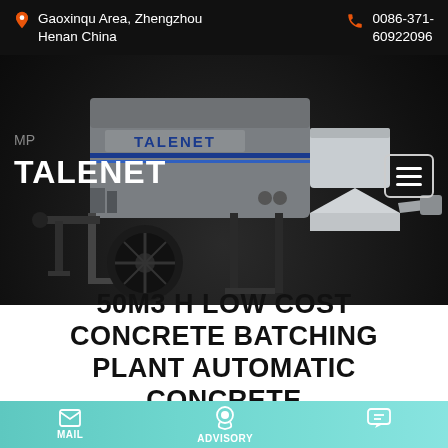Gaoxinqu Area, Zhengzhou Henan China | 0086-371-60922096
[Figure (photo): TALENET branded concrete batching plant / pump machine on wheels, gray and black, photographed on dark background]
TALENET
50M3 H LOW COST CONCRETE BATCHING PLANT AUTOMATIC CONCRETE
MAIL | ADVISORY | (chat icon)